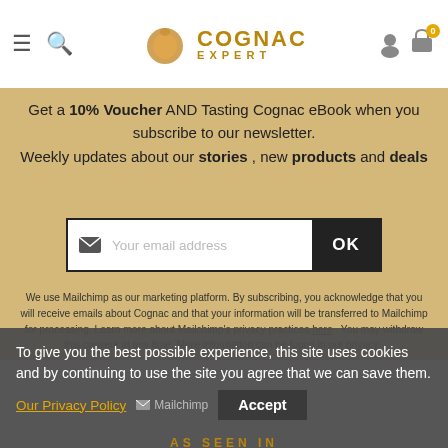[Figure (logo): Cognac Expert logo with cognac glass icon and text COGNAC EXPERT]
Get a 10% Voucher AND Tasting Cognac eBook when you subscribe to our newsletter. Weekly updates about our stories , new products and deals
[Figure (screenshot): Email subscription form with envelope icon, placeholder 'Your email address', and OK button]
We use Mailchimp as our marketing platform. By subscribing, you acknowledge that you will receive emails about Cognac and that your information will be transferred to Mailchimp for processing. Learn more about Mailchimp's privacy practices here . You may withdraw this consent at any time. More information can be found in our privacy .
To give you the best possible experience, this site uses cookies and by continuing to use the site you agree that we can save them. Our Privacy Policy
AS SEEN IN